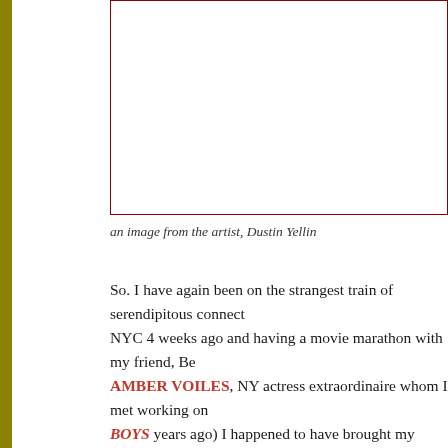[Figure (other): A framed white image box with a dark red border, representing an image from the artist Dustin Yellin]
an image from the artist, Dustin Yellin
So. I have again been on the strangest train of serendipitous connect... NYC 4 weeks ago and having a movie marathon with my friend, Be... AMBER VOILES, NY actress extraordinaire whom I met working on... BOYS years ago) I happened to have brought my Netflix movies of t... THE DEVIL AND DANIEL JOHNSTON and MAN ON A WIRE. One of th... memorable scenes in the Daniel Johnston film was " a trip to the de... Butthole Surfers frontman, GIBBY HAYNES where the camera takes...